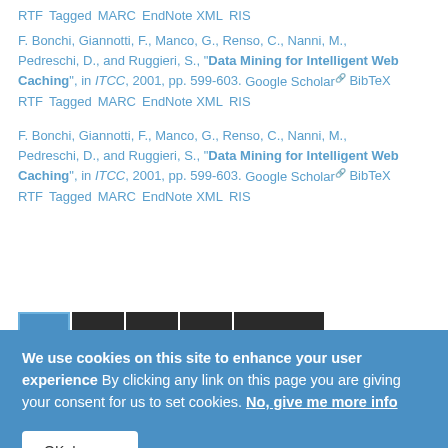RTF Tagged MARC EndNote XML RIS
F. Bonchi, Giannotti, F., Manco, G., Renso, C., Nanni, M., Pedreschi, D., and Ruggieri, S., "Data Mining for Intelligent Web Caching", in ITCC, 2001, pp. 599-603. Google Scholar BibTeX RTF Tagged MARC EndNote XML RIS
F. Bonchi, Giannotti, F., Manco, G., Renso, C., Nanni, M., Pedreschi, D., and Ruggieri, S., "Data Mining for Intelligent Web Caching", in ITCC, 2001, pp. 599-603. Google Scholar BibTeX RTF Tagged MARC EndNote XML RIS
1 2 3 4 next › last »
We use cookies on this site to enhance your user experience By clicking any link on this page you are giving your consent for us to set cookies. No, give me more info
OK, I agree